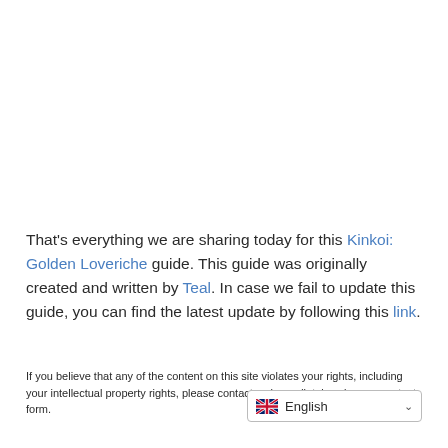That's everything we are sharing today for this Kinkoi: Golden Loveriche guide. This guide was originally created and written by Teal. In case we fail to update this guide, you can find the latest update by following this link.
If you believe that any of the content on this site violates your rights, including your intellectual property rights, please contact us immediately using our contact form.